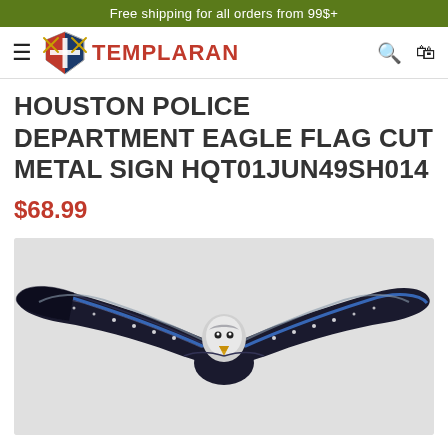Free shipping for all orders from 99$+
[Figure (logo): Templaran logo with shield and crossed swords, brand name TEMPLARAN in red]
HOUSTON POLICE DEPARTMENT EAGLE FLAG CUT METAL SIGN HQT01JUN49SH014
$68.99
[Figure (photo): Eagle with wings spread wide featuring American flag with thin blue line pattern on wings, bald eagle head in center, black and blue color scheme on light gray background]